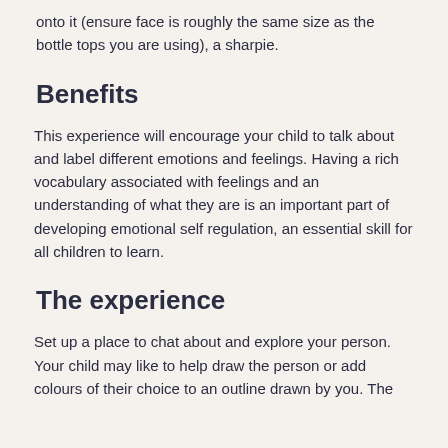onto it (ensure face is roughly the same size as the bottle tops you are using), a sharpie.
Benefits
This experience will encourage your child to talk about and label different emotions and feelings. Having a rich vocabulary associated with feelings and an understanding of what they are is an important part of developing emotional self regulation, an essential skill for all children to learn.
The experience
Set up a place to chat about and explore your person. Your child may like to help draw the person or add colours of their choice to an outline drawn by you. The